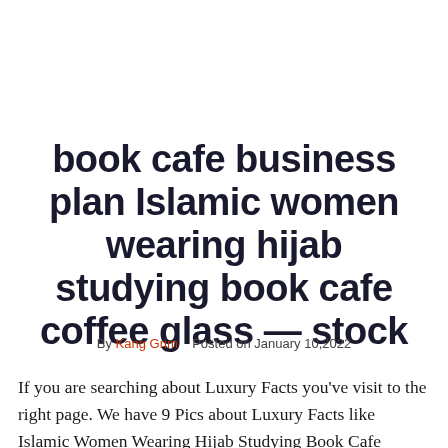book cafe business plan Islamic women wearing hijab studying book cafe coffee glass — stock
By Kang Grim   Posted on January 10,2022
If you are searching about Luxury Facts you've visit to the right page. We have 9 Pics about Luxury Facts like Islamic Women Wearing Hijab Studying Book Cafe Coffee Glass — Stock COVID-19: Therefore and